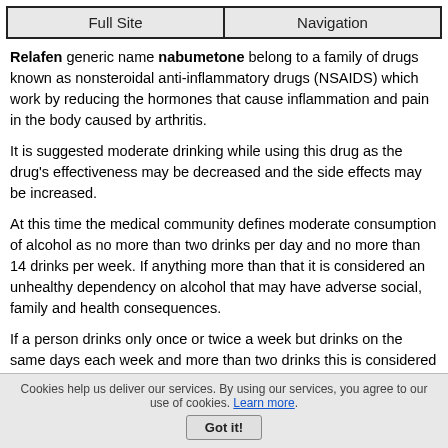Full Site | Navigation
Relafen generic name nabumetone belong to a family of drugs known as nonsteroidal anti-inflammatory drugs (NSAIDS) which work by reducing the hormones that cause inflammation and pain in the body caused by arthritis.
It is suggested moderate drinking while using this drug as the drug's effectiveness may be decreased and the side effects may be increased.
At this time the medical community defines moderate consumption of alcohol as no more than two drinks per day and no more than 14 drinks per week. If anything more than that it is considered an unhealthy dependency on alcohol that may have adverse social, family and health consequences.
If a person drinks only once or twice a week but drinks on the same days each week and more than two drinks this is considered as an alcohol dependency.
Cookies help us deliver our services. By using our services, you agree to our use of cookies. Learn more. Got it!